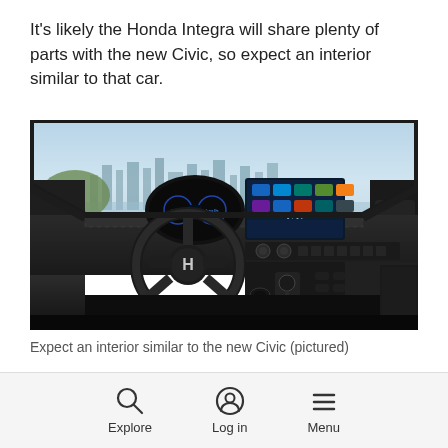It's likely the Honda Integra will share plenty of parts with the new Civic, so expect an interior similar to that car.
[Figure (photo): Interior of a Honda Civic showing the steering wheel, digital instrument cluster, infotainment touchscreen, center console, and city skyline visible through the windshield.]
Expect an interior similar to the new Civic (pictured)
Explore  Log in  Menu